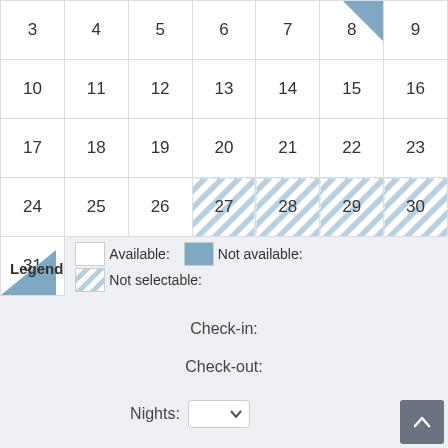[Figure (other): Calendar grid showing dates 3-31. Dates 27-30 have diagonal stripe pattern (not selectable). Date 8 top-right corner and date 31 bottom-left corner have blue triangle corners indicating special status.]
Legend   Available:   Not available:   Not selectable:
Check-in:
Check-out:
Nights: